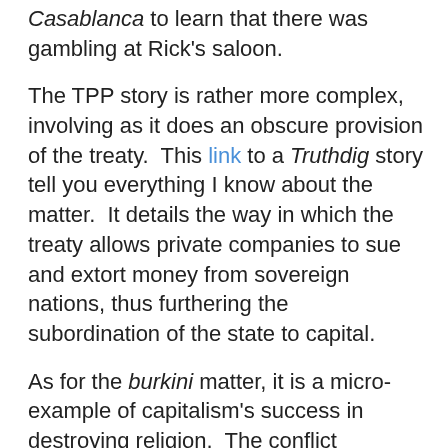Casablanca to learn that there was gambling at Rick's saloon.
The TPP story is rather more complex, involving as it does an obscure provision of the treaty.  This link to a Truthdig story tell you everything I know about the matter.  It details the way in which the treaty allows private companies to sue and extort money from sovereign nations, thus furthering the subordination of the state to capital.
As for the burkini matter, it is a micro-example of capitalism's success in destroying religion.  The conflict between church and state has a long history in the west, going at least as far back as the fourth century conversion of Constantine and Charlemagne's decision to crown himself head of his newly formed empire on Christmas Day in the year 800 A. D.  I confess that I have always been offended by Franco's efforts to enforce secularism.  The case